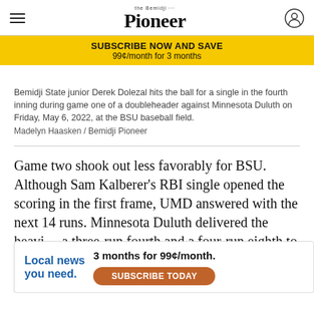Bemidji Pioneer
SUBSCRIBE NOW AND SAVE
99¢/month for 3 months
Bemidji State junior Derek Dolezal hits the ball for a single in the fourth inning during game one of a doubleheader against Minnesota Duluth on Friday, May 6, 2022, at the BSU baseball field.
Madelyn Haasken / Bemidji Pioneer
Game two shook out less favorably for BSU. Although Sam Kalberer's RBI single opened the scoring in the first frame, UMD answered with the next 14 runs. Minnesota Duluth delivered the heavi… a three-run fourth and a four-run eighth to salvage a
[Figure (infographic): Advertisement overlay: Local news you need. 3 months for 99¢/month. Subscribe Today button.]